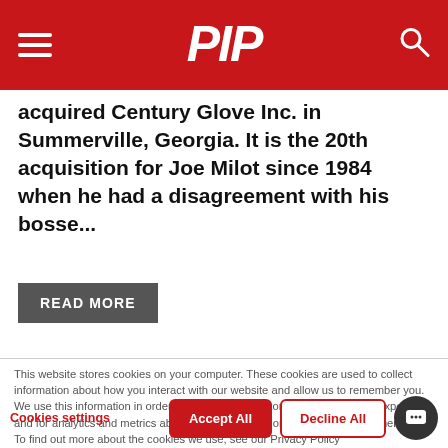PIP (logo)
acquired Century Glove Inc. in Summerville, Georgia. It is the 20th acquisition for Joe Milot since 1984 when he had a disagreement with his bosse...
READ MORE
This website stores cookies on your computer. These cookies are used to collect information about how you interact with our website and allow us to remember you. We use this information in order to improve and customize your browsing experience and for analytics and metrics about our visitors both on this website and other media. To find out more about the cookies we use, see our Privacy Policy
If you decline, your information won't be tracked when you visit this website. A single cookie will be used in your browser to remember your preference not to be tracked.
Cookies settings
Accept All
Decline All